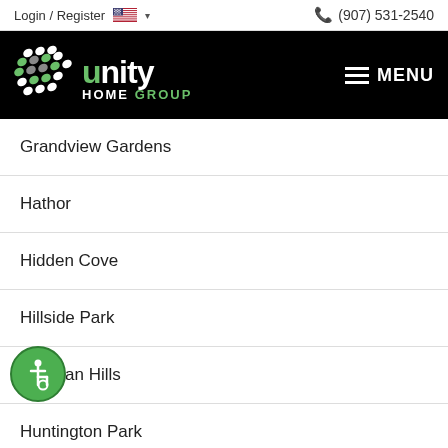Login / Register   🇺🇸 ▾   (907) 531-2540
[Figure (logo): Unity Home Group logo on black navigation bar with hamburger menu icon and MENU text]
Grandview Gardens
Hathor
Hidden Cove
Hillside Park
Huffman Hills
Huntington Park
Huntwood Park
Independence Park